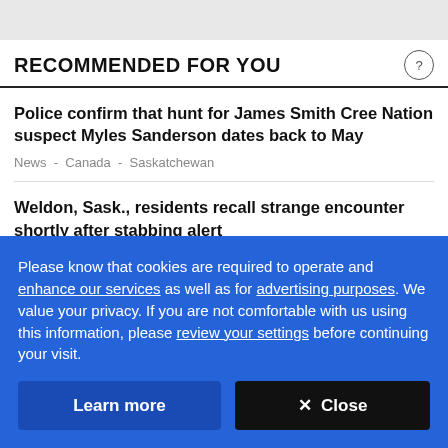RECOMMENDED FOR YOU
Police confirm that hunt for James Smith Cree Nation suspect Myles Sanderson dates back to May
News - Canada - Saskatchewan
Weldon, Sask., residents recall strange encounter shortly after stabbing alert
Jessie Anton
News - Canada - Saskatchewan
Please know that cookies are required to operate and enhance our services as well as for advertising purposes. We value your privacy. If you are not comfortable with us using this information, please review your settings before continuing your visit.